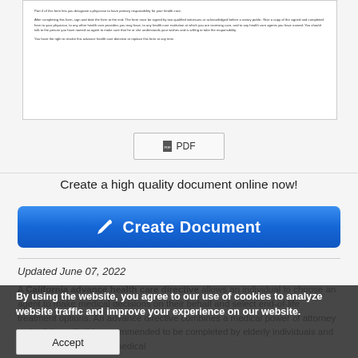[Figure (screenshot): Preview of a California advance health care directive document showing small text paragraphs]
[Figure (other): PDF download button with document icon]
Create a high quality document online now!
[Figure (other): Blue Create Document button with pencil icon]
Updated June 07, 2022
A California advance health care directive allows an individual to choose an agent to make medical decisions on their behalf and select end-of-life treatment options. An advance directive combines a medical power of attorney and a living will. It is recommended to be completed by elderly individuals and those seeking high-risk medical
By using the website, you agree to our use of cookies to analyze website traffic and improve your experience on our website.
Accept